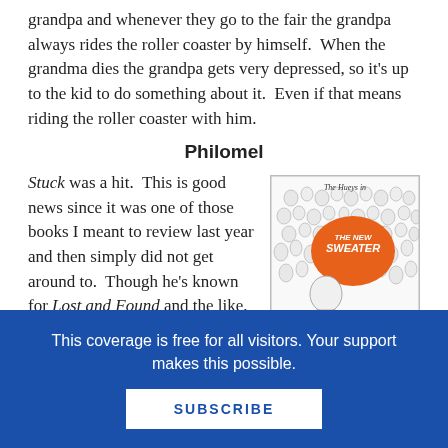grandpa and whenever they go to the fair the grandpa always rides the roller coaster by himself.  When the grandma dies the grandpa gets very depressed, so it's up to the kid to do something about it.  Even if that means riding the roller coaster with him.
Philomel
Stuck was a hit.  This is good news since it was one of those books I meant to review last year and then simply did not get around to.  Though he's known for Lost and Found and the like, Oliver
[Figure (illustration): Book cover of 'The Hueys in The New Sweater' by Oliver Jeffers. Shows a crowd of simple round-headed characters in white/grey, with a central character wearing an orange sweater, and an orange speech bubble with 'The New Sweater' written in hand-lettering. Author name 'Oliver Jeffers' at the bottom.]
This coverage is free for all visitors. Your support makes this possible.
SUBSCRIBE